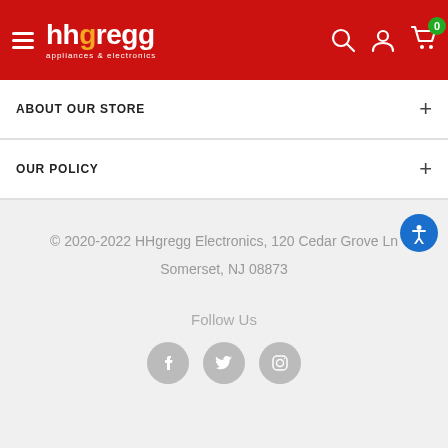hhgregg appliances & electronics — navigation header
ABOUT OUR STORE
OUR POLICY
© 2020-2022 HHgregg Electronics, 120 Cedar Grove Ln Somerset, NJ 08873
Follow Us